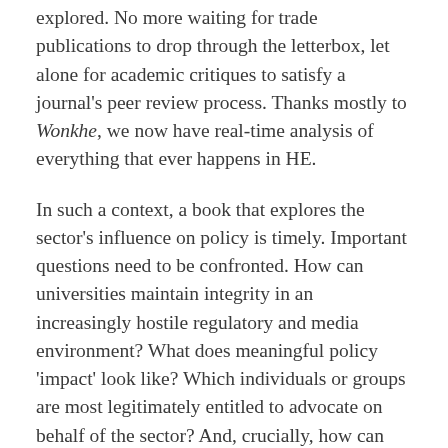explored. No more waiting for trade publications to drop through the letterbox, let alone for academic critiques to satisfy a journal's peer review process. Thanks mostly to Wonkhe, we now have real-time analysis of everything that ever happens in HE.
In such a context, a book that explores the sector's influence on policy is timely. Important questions need to be confronted. How can universities maintain integrity in an increasingly hostile regulatory and media environment? What does meaningful policy 'impact' look like? Which individuals or groups are most legitimately entitled to advocate on behalf of the sector? And, crucially, how can academic research evidence be communicated to those who most need to engage with it?
This collection, edited by Ant Bagshaw (Nous) and Debbie McVitty (Wonkhe) takes on some of these questions. It's at its best when mapping legislative processes and regulatory